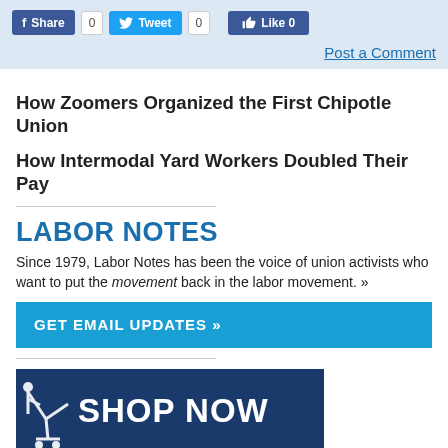Share 0  Tweet 0  Like 0
Post a Comment
How Zoomers Organized the First Chipotle Union
How Intermodal Yard Workers Doubled Their Pay
LABOR NOTES
Since 1979, Labor Notes has been the voice of union activists who want to put the movement back in the labor movement. »
GET EMAIL UPDATES »
[Figure (illustration): Shop Now banner with dark navy background showing a figure with a shopping cart and the text SHOP NOW in large white bold letters]